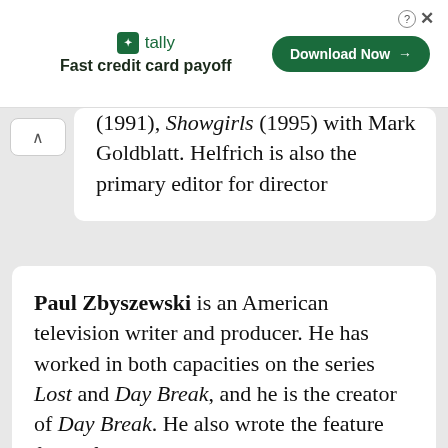[Figure (other): Tally app advertisement banner. Logo with green leaf icon and 'tally' text, tagline 'Fast credit card payoff', green 'Download Now →' button, and close/help icons in top right.]
(1991), Showgirls (1995) with Mark Goldblatt. Helfrich is also the primary editor for director
Paul Zbyszewski is an American television writer and producer. He has worked in both capacities on the series Lost and Day Break, and he is the creator of Day Break. He also wrote the feature film After the Sunset.